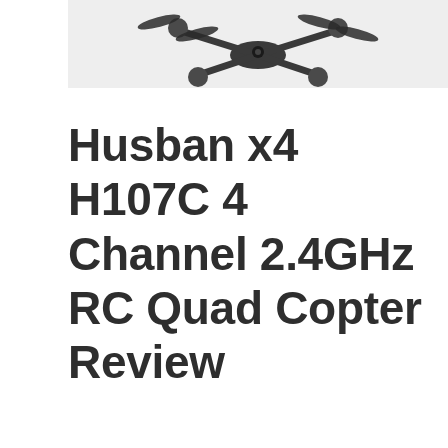[Figure (photo): Partial top view of a Hubsan x4 H107C quadcopter drone against a light grey/white background, showing the top portion of the drone body and two rotors.]
Husban x4 H107C 4 Channel 2.4GHz RC Quad Copter Review